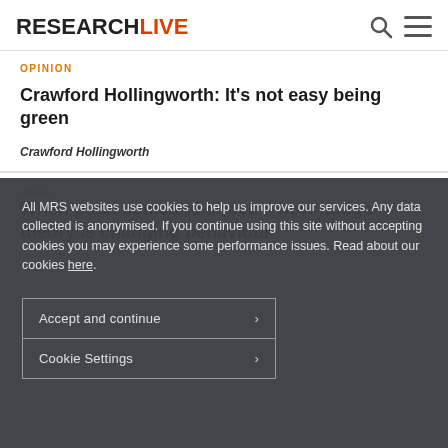RESEARCHLIVE
OPINION
Crawford Hollingworth: It’s not easy being green
Crawford Hollingworth
All MRS websites use cookies to help us improve our services. Any data collected is anonymised. If you continue using this site without accepting cookies you may experience some performance issues. Read about our cookies here.
Accept and continue
Cookie Settings